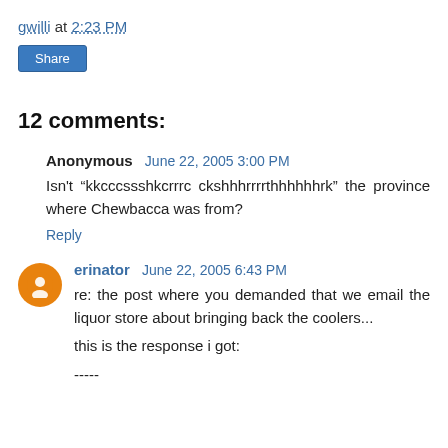gwilli at 2:23 PM
Share
12 comments:
Anonymous  June 22, 2005 3:00 PM
Isn't "kkcccssshkcrrrc ckshhhrrrrthhhhhhrk" the province where Chewbacca was from?
Reply
erinator  June 22, 2005 6:43 PM
re: the post where you demanded that we email the liquor store about bringing back the coolers...
this is the response i got:
-----